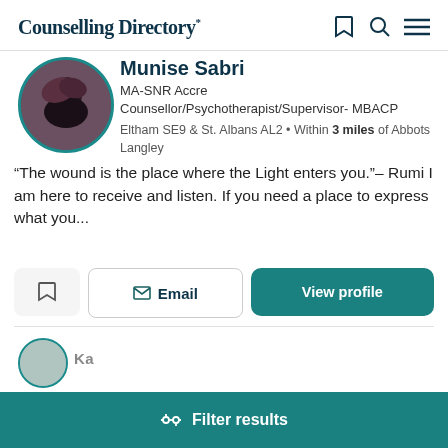Counselling Directory
Munise Sabri
MA-SNR Accre Counsellor/Psychotherapist/Supervisor- MBACP
Eltham SE9 & St. Albans AL2 • Within 3 miles of Abbots Langley
“The wound is the place where the Light enters you.”– Rumi I am here to receive and listen. If you need a place to express what you...
Email
View profile